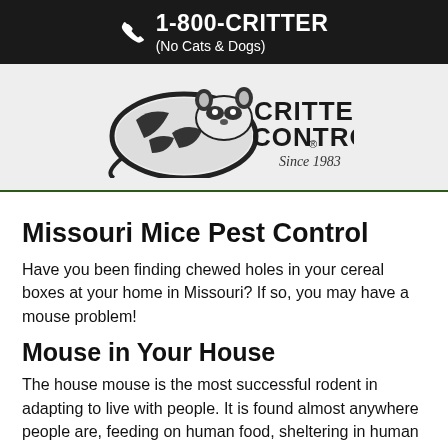1-800-CRITTER (No Cats & Dogs)
[Figure (logo): Critter Control logo with raccoon illustration and text 'Since 1983']
Missouri Mice Pest Control
Have you been finding chewed holes in your cereal boxes at your home in Missouri? If so, you may have a mouse problem!
Mouse in Your House
The house mouse is the most successful rodent in adapting to live with people. It is found almost anywhere people are, feeding on human food, sheltering in human structures, and reproducing at a remarkable rate. It is the most troublesome and economically important vertebrate pest